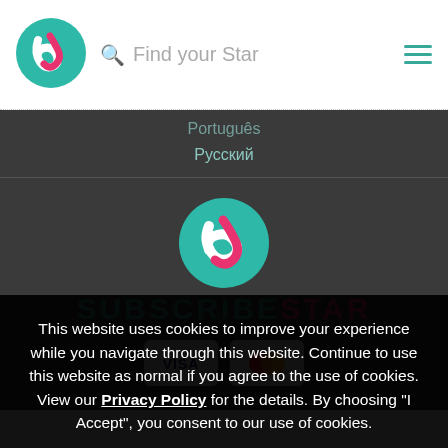[Figure (logo): SubscribeStar circular logo with teal background and white/pink S-shaped arrow icon]
Find your Star
[Figure (logo): Hamburger menu icon in teal]
Português
Русский
[Figure (logo): SubscribeStar large circular logo centered]
SUBSCRIBESTAR
[Figure (other): VISA and Mastercard payment card badges]
This website uses cookies to improve your experience while you navigate through this website. Continue to use this website as normal if you agree to the use of cookies. View our Privacy Policy for the details. By choosing "I Accept", you consent to our use of cookies.
I Accept